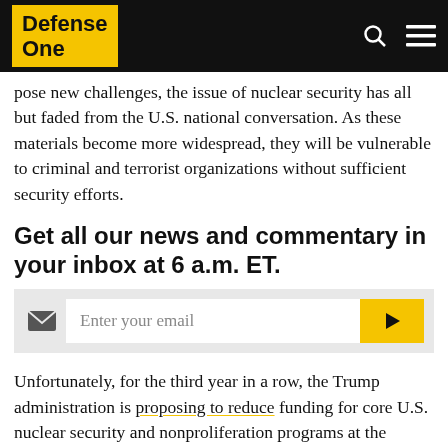Defense One
…ting and threats, but also pose new challenges, the issue of nuclear security has all but faded from the U.S. national conversation. As these materials become more widespread, they will be vulnerable to criminal and terrorist organizations without sufficient security efforts.
Get all our news and commentary in your inbox at 6 a.m. ET.
Enter your email [signup widget]
Unfortunately, for the third year in a row, the Trump administration is proposing to reduce funding for core U.S. nuclear security and nonproliferation programs at the semiautonomous National Nuclear Security